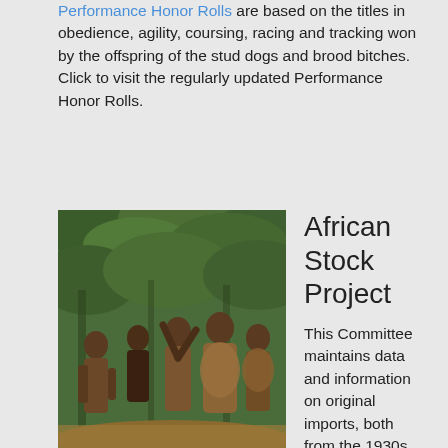Performance Honor Rolls are based on the titles in obedience, agility, coursing, racing and tracking won by the offspring of the stud dogs and brood bitches. Click to visit the regularly updated Performance Honor Rolls.
African Stock Project
[Figure (photo): Photo of several African people in traditional attire standing in a forested area with lush green trees in the background.]
This Committee maintains data and information on original imports, both from the 1930s and later by tracking Basenji imports and their progeny. The Committee maintains and revises the African Stock Project for the BCOA to keep the fancy abreast of news about African imports. Click African Stock Project to view these foundation dogs and a library of articles.